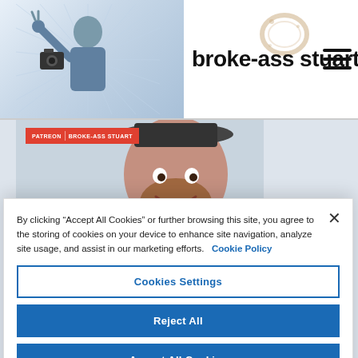[Figure (screenshot): Broke-Ass Stuart website header with logo photo of person making peace sign with camera, site name 'broke-ass stuart' in bold, coffee ring stain graphic, and hamburger menu icon]
[Figure (photo): Smiling bearded man wearing a hat and patterned shirt, with a Patreon | Broke-Ass Stuart badge overlay in the upper left]
By clicking "Accept All Cookies" or further browsing this site, you agree to the storing of cookies on your device to enhance site navigation, analyze site usage, and assist in our marketing efforts.  Cookie Policy
Cookies Settings
Reject All
Accept All Cookies